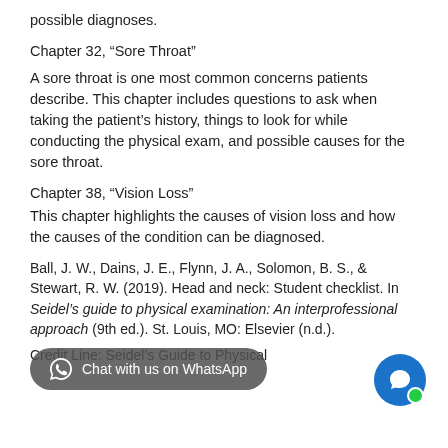possible diagnoses.
Chapter 32, “Sore Throat”
A sore throat is one most common concerns patients describe. This chapter includes questions to ask when taking the patient’s history, things to look for while conducting the physical exam, and possible causes for the sore throat.
Chapter 38, “Vision Loss”
This chapter highlights the causes of vision loss and how the causes of the condition can be diagnosed.
Ball, J. W., Dains, J. E., Flynn, J. A., Solomon, B. S., & Stewart, R. W. (2019). Head and neck: Student checklist. In Seidel’s guide to physical examination: An interprofessional approach (9th ed.). St. Louis, MO: Elsevier (n.d.).
Credit Line: Seidel’s Guide to Physical